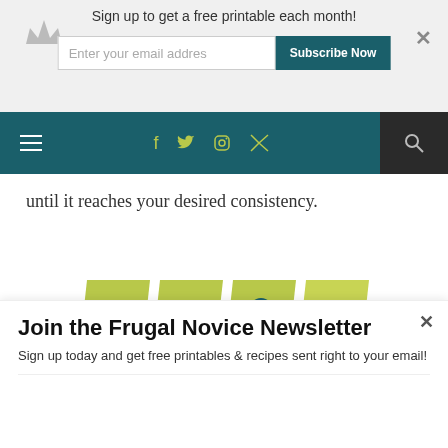Sign up to get a free printable each month! Enter your email addres | Subscribe Now
[Figure (screenshot): Website navigation bar with hamburger menu, social icons (Facebook, Twitter, Instagram, RSS), and search icon on dark teal background]
until it reaches your desired consistency.
[Figure (infographic): Social sharing buttons in olive/yellow-green parallelogram shapes: Facebook (f), Twitter (bird), Pinterest (P), Google+ (g+)]
CHRISTI
Hi I'm Christi th...
Join the Frugal Novice Newsletter
Sign up today and get free printables & recipes sent right to your email!